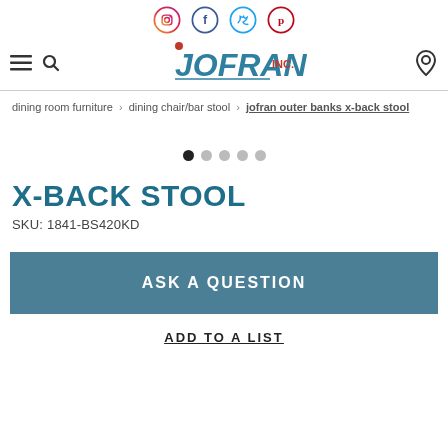Jofran Inc. website header with social media icons (Instagram, Facebook, Twitter, Pinterest), navigation hamburger menu, search icon, logo, and location pin icon
dining room furniture > dining chair/bar stool > jofran outer banks x-back stool
[Figure (other): Carousel navigation dots: 5 dots, first one filled/active]
X-BACK STOOL
SKU: 1841-BS420KD
ASK A QUESTION
ADD TO A LIST